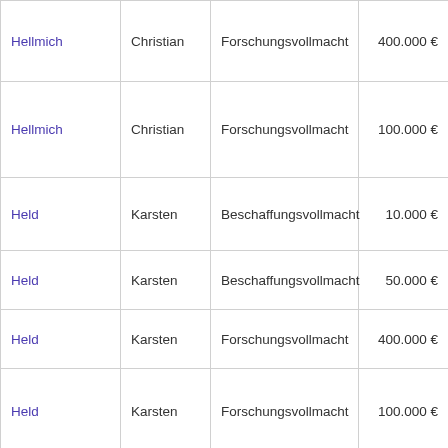| Hellmich | Christian | Forschungsvollmacht | 400.000 € | Marc |
| Hellmich | Christian | Forschungsvollmacht | 100.000 € | Marc |
| Held | Karsten | Beschaffungsvollmacht | 10.000 € | Marc |
| Held | Karsten | Beschaffungsvollmacht | 50.000 € | Marc |
| Held | Karsten | Forschungsvollmacht | 400.000 € | Marc |
| Held | Karsten | Forschungsvollmacht | 100.000 € | Marc |
| Held | Karsten | Beschaffungsvollmacht | 50.000 € | Marc |